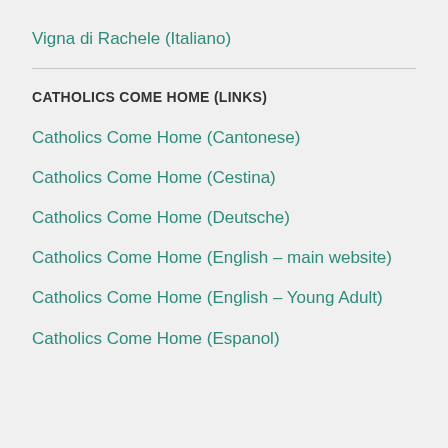Vigna di Rachele (Italiano)
CATHOLICS COME HOME (LINKS)
Catholics Come Home (Cantonese)
Catholics Come Home (Cestina)
Catholics Come Home (Deutsche)
Catholics Come Home (English – main website)
Catholics Come Home (English – Young Adult)
Catholics Come Home (Espanol)